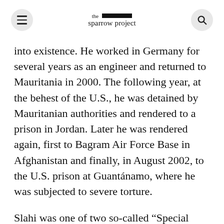the sparrow project
into existence. He worked in Germany for several years as an engineer and returned to Mauritania in 2000. The following year, at the behest of the U.S., he was detained by Mauritanian authorities and rendered to a prison in Jordan. Later he was rendered again, first to Bagram Air Force Base in Afghanistan and finally, in August 2002, to the U.S. prison at Guantánamo, where he was subjected to severe torture.
Slahi was one of two so-called “Special